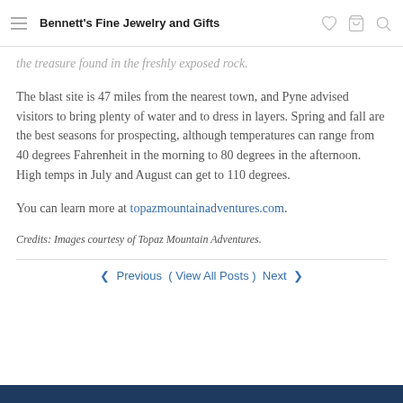Bennett's Fine Jewelry and Gifts
the treasure found in the freshly exposed rock.
The blast site is 47 miles from the nearest town, and Pyne advised visitors to bring plenty of water and to dress in layers. Spring and fall are the best seasons for prospecting, although temperatures can range from 40 degrees Fahrenheit in the morning to 80 degrees in the afternoon. High temps in July and August can get to 110 degrees.
You can learn more at topazmountainadventures.com.
Credits: Images courtesy of Topaz Mountain Adventures.
◀ Previous ( View All Posts ) Next ▶